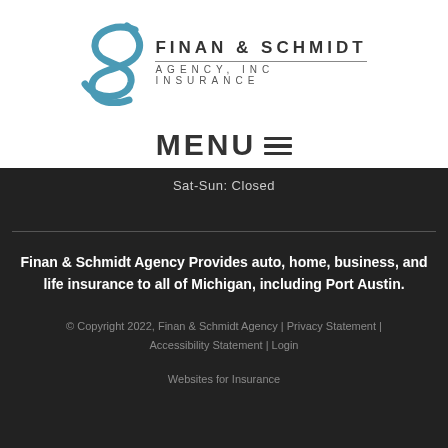[Figure (logo): Finan & Schmidt Agency, Inc Insurance logo with stylized S graphic in teal/blue on the left and bold uppercase text on the right]
MENU
Sat-Sun: Closed
Finan & Schmidt Agency Provides auto, home, business, and life insurance to all of Michigan, including Port Austin.
© Copyright 2022, Finan & Schmidt Agency | Privacy Statement | Accessibility Statement | Login
Websites for Insurance